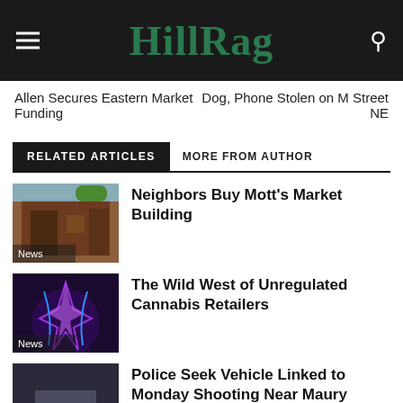HillRag
Allen Secures Eastern Market Funding
Dog, Phone Stolen on M Street NE
RELATED ARTICLES   MORE FROM AUTHOR
[Figure (photo): Exterior photo of a brick building — Mott's Market]
Neighbors Buy Mott's Market Building
[Figure (photo): Close-up photo of colorful cannabis leaves with purple and blue lighting]
The Wild West of Unregulated Cannabis Retailers
[Figure (photo): Aerial/street view photo of a road scene at night]
Police Seek Vehicle Linked to Monday Shooting Near Maury